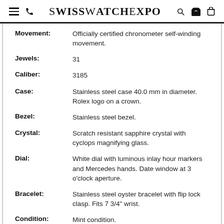SwissWatchExpo
| Attribute | Value |
| --- | --- |
| Movement: | Officially certified chronometer self-winding movement. |
| Jewels: | 31 |
| Caliber: | 3185 |
| Case: | Stainless steel case 40.0 mm in diameter. Rolex logo on a crown. |
| Bezel: | Stainless steel bezel. |
| Crystal: | Scratch resistant sapphire crystal with cyclops magnifying glass. |
| Dial: | White dial with luminous inlay hour markers and Mercedes hands. Date window at 3 o'clock aperture. |
| Bracelet: | Stainless steel oyster bracelet with flip lock clasp. Fits 7 3/4" wrist. |
| Condition: | Mint condition. |